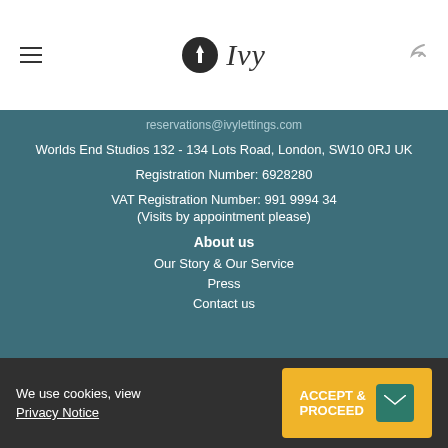Ivy
reservations@ivylettings.com
Worlds End Studios 132 - 134 Lots Road, London, SW10 0RJ UK
Registration Number: 6928280
VAT Registration Number: 991 9994 34
(Visits by appointment please)
About us
Our Story & Our Service
Press
Contact us
We use cookies, view Privacy Notice
ACCEPT & PROCEED